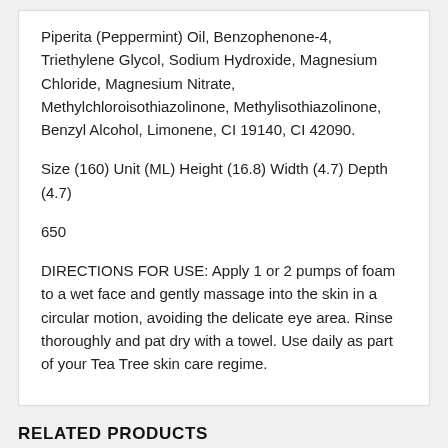Piperita (Peppermint) Oil, Benzophenone-4, Triethylene Glycol, Sodium Hydroxide, Magnesium Chloride, Magnesium Nitrate, Methylchloroisothiazolinone, Methylisothiazolinone, Benzyl Alcohol, Limonene, CI 19140, CI 42090.
Size (160) Unit (ML) Height (16.8) Width (4.7) Depth (4.7)
650
DIRECTIONS FOR USE: Apply 1 or 2 pumps of foam to a wet face and gently massage into the skin in a circular motion, avoiding the delicate eye area. Rinse thoroughly and pat dry with a towel. Use daily as part of your Tea Tree skin care regime.
RELATED PRODUCTS